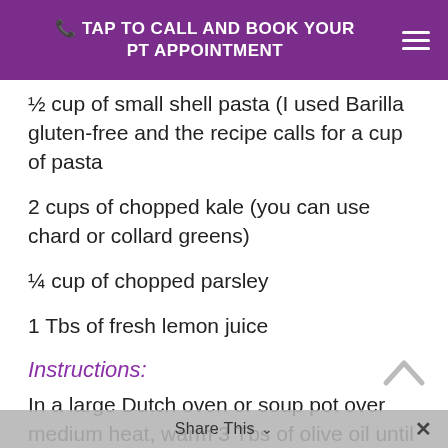TAP TO CALL AND BOOK YOUR PT APPOINTMENT
½ cup of small shell pasta (I used Barilla gluten-free and the recipe calls for a cup of pasta
2 cups of chopped kale (you can use chard or collard greens)
¼ cup of chopped parsley
1 Tbs of fresh lemon juice
Instructions:
In a large Dutch oven or soup pot over medium heat, warm 3 Tbs of olive oil until